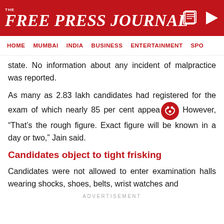THE FREE PRESS JOURNAL
HOME  MUMBAI  INDIA  BUSINESS  ENTERTAINMENT  SPO
state. No information about any incident of malpractice was reported.
As many as 2.83 lakh candidates had registered for the exam of which nearly 85 per cent appeared. However, "That's the rough figure. Exact figure will be known in a day or two," Jain said.
Candidates object to tight frisking
Candidates were not allowed to enter examination halls wearing shocks, shoes, belts, wrist watches and
ADVERTISEMENT